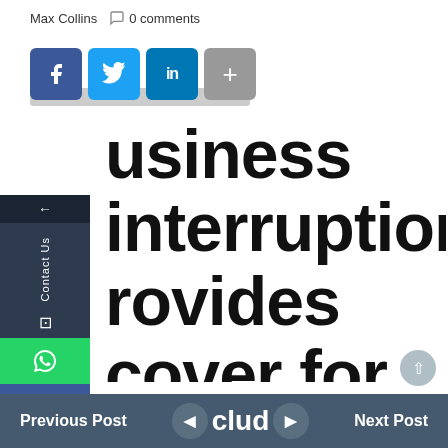Max Collins  0 comments
Business interruption provides cover for the loss of profit or loss of revenue following damage or disruption to business premises. This
Previous Post  clud  Next Post